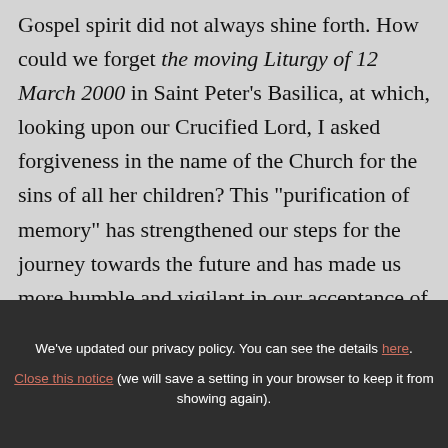the course of the first two millennia, the Gospel spirit did not always shine forth. How could we forget the moving Liturgy of 12 March 2000 in Saint Peter's Basilica, at which, looking upon our Crucified Lord, I asked forgiveness in the name of the Church for the sins of all her children? This "purification of memory" has strengthened our steps for the journey towards the future and has made us more humble and vigilant in our acceptance of the Gospel.
We've updated our privacy policy. You can see the details here. Close this notice (we will save a setting in your browser to keep it from showing again).